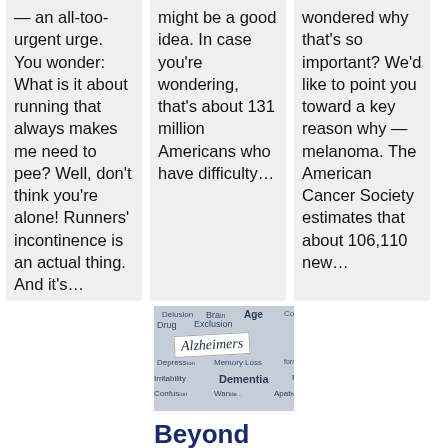— an all-too-urgent urge. You wonder: What is it about running that always makes me need to pee? Well, don't think you're alone! Runners' incontinence is an actual thing. And it's…
might be a good idea. In case you're wondering, that's about 131 million Americans who have difficulty…
wondered why that's so important? We'd like to point you toward a key reason why — melanoma. The American Cancer Society estimates that about 106,110 new…
[Figure (photo): Photo of overlapping newspaper/word clippings about Alzheimer's disease, showing terms like Alzheimers, Delusion, Brain, Age, Drug, Exclusion, Cognitive, Memory Loss, Irritability, Dementia, Plaque, Confusion, Wandering, Apathy]
Beyond memory